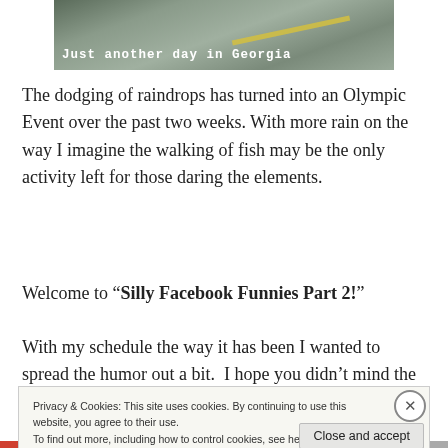[Figure (photo): Flooded road with yellow center line and text overlay reading 'Just another day in Georgia']
The dodging of raindrops has turned into an Olympic Event over the past two weeks. With more rain on the way I imagine the walking of fish may be the only activity left for those daring the elements.
Welcome to “Silly Facebook Funnies Part 2!”
With my schedule the way it has been I wanted to spread the humor out a bit.  I hope you didn’t mind the wait! So
Privacy & Cookies: This site uses cookies. By continuing to use this website, you agree to their use.
To find out more, including how to control cookies, see here: Cookie Policy
Close and accept